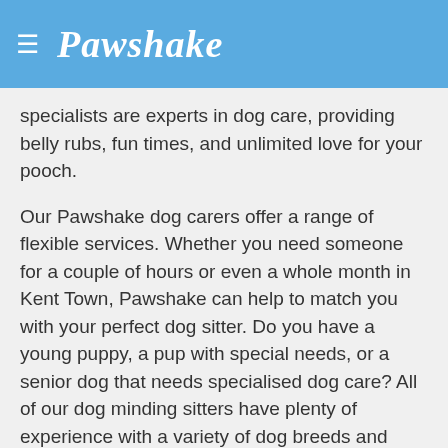≡ Pawshake
specialists are experts in dog care, providing belly rubs, fun times, and unlimited love for your pooch.
Our Pawshake dog carers offer a range of flexible services. Whether you need someone for a couple of hours or even a whole month in Kent Town, Pawshake can help to match you with your perfect dog sitter. Do you have a young puppy, a pup with special needs, or a senior dog that needs specialised dog care? All of our dog minding sitters have plenty of experience with a variety of dog breeds and behaviours, so they know how to make your dog feel truly comfortable.
Pet owners book dog sitting in Kent Town on Pawshake. Over 849 pet owners in Kent Town have left a review, with an average of 4.96/5. All paid safely using Visa, Mastercard, American Express